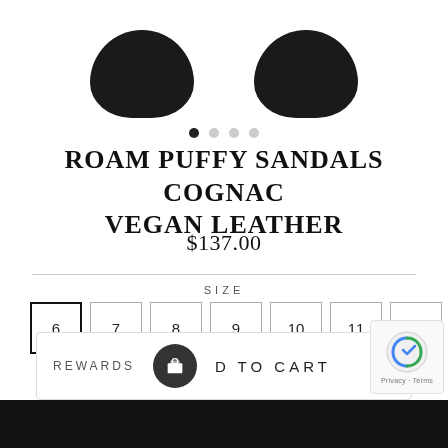[Figure (photo): Two black shoe soles/tops of Roam Puffy Sandals viewed from above on white background]
ROAM PUFFY SANDALS COGNAC VEGAN LEATHER
$137.00
SIZE
6  7  8  9  10  11  12
View Size Chart
REWARDS  D TO CART